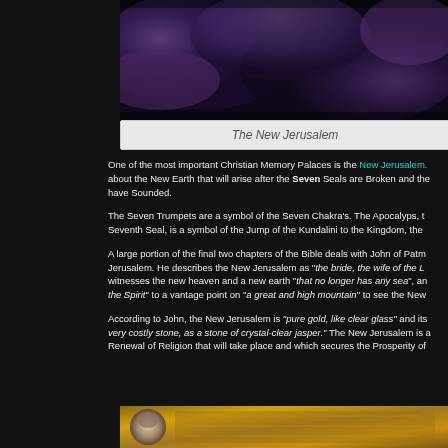[Figure (photo): Dark cosmic/nebula image with purple and blue tones in upper portion of page]
The New Jerusalem
One of the most important Christian Memory Palaces is the New Jerusalem. about the New Earth that will arise after the Seven Seals are Broken and the have Sounded.
The Seven Trumpets are a symbol of the Seven Chakra's. The Apocalyps, th Seventh Seal, is a symbol of the Jump of the Kundalini to the Kingdom, the
A large portion of the final two chapters of the Bible deals with John of Patme Jerusalem. He describes the New Jerusalem as "the bride, the wife of the L witnesses the new heaven and a new earth "that no longer has any sea", an the Spirit" to a vantage point on "a great and high mountain" to see the New
According to John, the New Jerusalem is "pure gold, like clear glass" and its very costly stone, as a stone of crystal-clear jasper." The New Jerusalem is a Renewal of Religion that will take place and which secures the Prosperity of
[Figure (photo): Bottom partial image showing golden/brown tones with a figure on the left side]